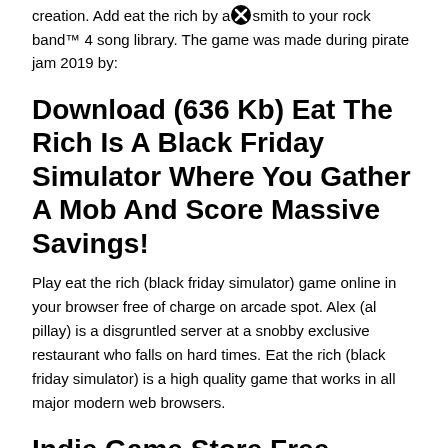creation. Add eat the rich by aerosmith to your rock band™ 4 song library. The game was made during pirate jam 2019 by:
Download (636 Kb) Eat The Rich Is A Black Friday Simulator Where You Gather A Mob And Score Massive Savings!
Play eat the rich (black friday simulator) game online in your browser free of charge on arcade spot. Alex (al pillay) is a disgruntled server at a snobby exclusive restaurant who falls on hard times. Eat the rich (black friday simulator) is a high quality game that works in all major modern web browsers.
Indie Game Store Free Games Fun Games Horror Games